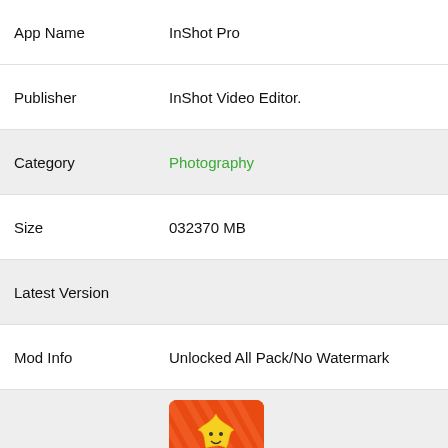| App Name | InShot Pro |
| Publisher | InShot Video Editor. |
| Category | Photography |
| Size | 032370 MB |
| Latest Version |  |
| Mod Info | Unlocked All Pack/No Watermark |
| Google Play | [app icon image] |